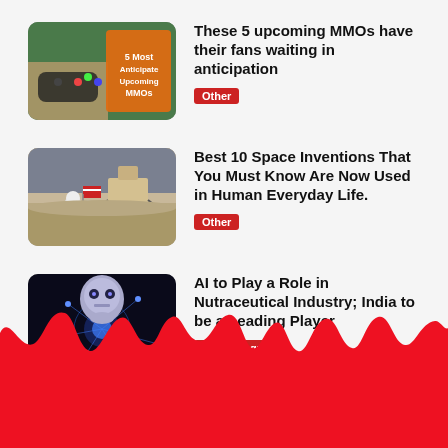[Figure (illustration): Thumbnail image showing hands holding a gaming controller with an orange overlay reading '5 Most Anticipated Upcoming MMOs']
These 5 upcoming MMOs have their fans waiting in anticipation
Other
[Figure (photo): Thumbnail image of astronauts on the moon surface with American flag and lunar lander]
Best 10 Space Inventions That You Must Know Are Now Used in Human Everyday Life.
Other
[Figure (photo): Thumbnail image of an AI robot face with neural network blue light background]
AI to Play a Role in Nutraceutical Industry; India to be a Leading Player
Technology